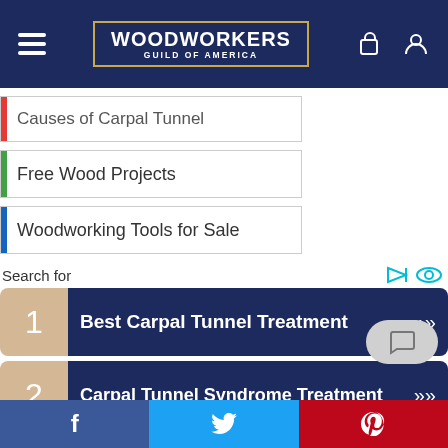[Figure (screenshot): Woodworkers Guild of America website header with hamburger menu, logo, and icons]
Causes of Carpal Tunnel
Free Wood Projects
Woodworking Tools for Sale
Search for
1  Best Carpal Tunnel Treatment
2  Carpal Tunnel Syndrome Treatment
3  Causes of Carpal Tunnel Syndrome
4  Carpal Tunnel Syndrome Symptoms